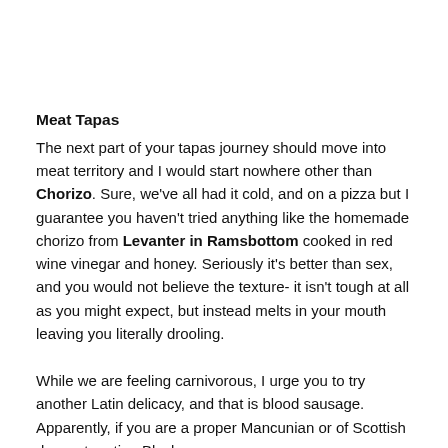Meat Tapas
The next part of your tapas journey should move into meat territory and I would start nowhere other than Chorizo. Sure, we've all had it cold, and on a pizza but I guarantee you haven't tried anything like the homemade chorizo from Levanter in Ramsbottom cooked in red wine vinegar and honey. Seriously it's better than sex, and you would not believe the texture- it isn't tough at all as you might expect, but instead melts in your mouth leaving you literally drooling.
While we are feeling carnivorous, I urge you to try another Latin delicacy, and that is blood sausage. Apparently, if you are a proper Mancunian or of Scottish descent, eating Black...